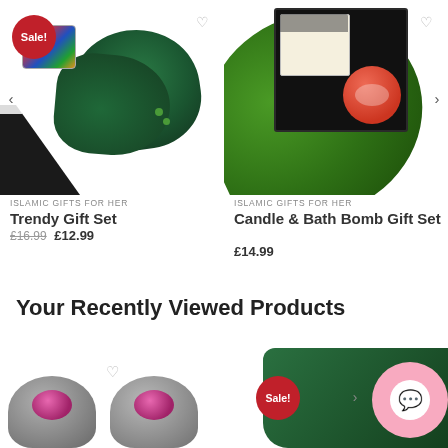[Figure (photo): Product photo of Trendy Gift Set featuring dark green chiffon scarf, colorful knitted bracelet/bangle, black hijab piece, and green pearl pins on white background. Red Sale badge in top-left corner.]
[Figure (photo): Product photo of Candle & Bath Bomb Gift Set in a dark box on a tropical leaf background. Contains a cream candle and a pink/red bath bomb.]
ISLAMIC GIFTS FOR HER
Trendy Gift Set
£16.99  £12.99
ISLAMIC GIFTS FOR HER
Candle & Bath Bomb Gift Set
£14.99
Your Recently Viewed Products
[Figure (photo): Bottom left product: two decorative brooches/earrings with pink gemstones on white background.]
[Figure (photo): Bottom right product: dark green fabric/scarf product with red Sale badge, partially visible. Pink chat widget circle visible at right edge.]